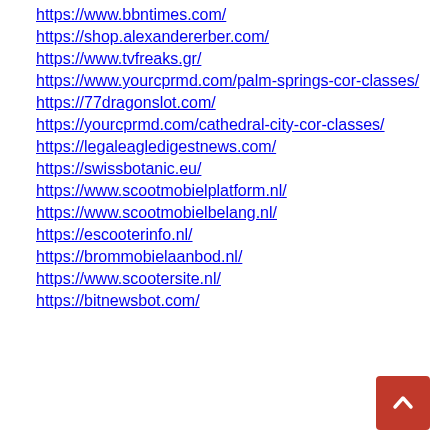https://www.bbntimes.com/
https://shop.alexandererber.com/
https://www.tvfreaks.gr/
https://www.yourcprmd.com/palm-springs-cor-classes/
https://77dragonslot.com/
https://yourcprmd.com/cathedral-city-cor-classes/
https://legaleagledigestnews.com/
https://swissbotanic.eu/
https://www.scootmobielplatform.nl/
https://www.scootmobielbelang.nl/
https://escooterinfo.nl/
https://brommobielaanbod.nl/
https://www.scootersite.nl/
https://bitnewsbot.com/